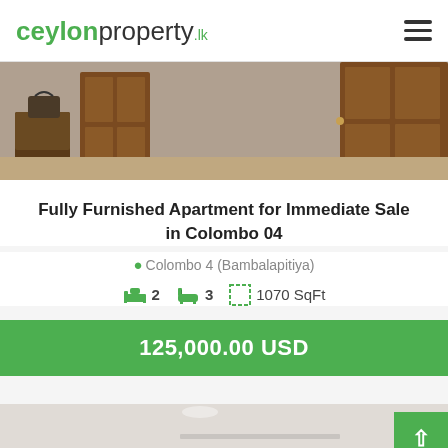ceylonproperty.lk
[Figure (photo): Interior room photo showing wooden furniture including chairs and door]
Fully Furnished Apartment for Immediate Sale in Colombo 04
Colombo 4 (Bambalapitiya)
2 bedrooms, 3 bathrooms, 1070 SqFt
125,000.00 USD
[Figure (photo): Interior room photo showing white ceiling and walls]